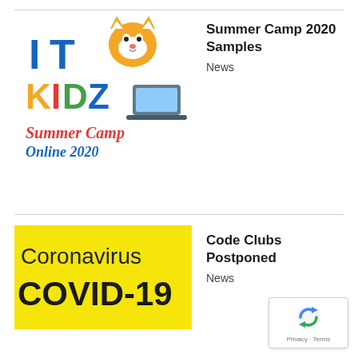[Figure (logo): IT Kidz Summer Camp Online 2020 logo with fox mascot and colorful text]
Summer Camp 2020 Samples
News
[Figure (illustration): Yellow background image with text: Coronavirus COVID-19]
Code Clubs Postponed
News
[Figure (other): reCAPTCHA badge with Privacy and Terms links]